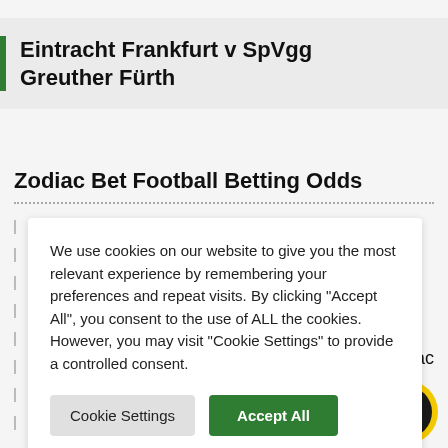Eintracht Frankfurt v SpVgg Greuther Fürth
Zodiac Bet Football Betting Odds
We use cookies on our website to give you the most relevant experience by remembering your preferences and repeat visits. By clicking "Accept All", you consent to the use of ALL the cookies. However, you may visit "Cookie Settings" to provide a controlled consent.
7.50 on Zodiac
hum